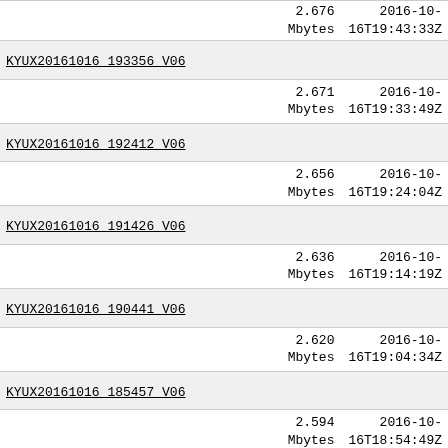| Name | Size | Date |
| --- | --- | --- |
| KYUX20161016 193356 V06 | 2.676
Mbytes | 2016-10-
16T19:43:33Z |
| KYUX20161016 192412 V06 | 2.671
Mbytes | 2016-10-
16T19:33:49Z |
| KYUX20161016 191426 V06 | 2.656
Mbytes | 2016-10-
16T19:24:04Z |
| KYUX20161016 190441 V06 | 2.636
Mbytes | 2016-10-
16T19:14:19Z |
| KYUX20161016 185457 V06 | 2.620
Mbytes | 2016-10-
16T19:04:34Z |
| KYUX20161016 184511 V06 | 2.594
Mbytes | 2016-10-
16T18:54:49Z |
| KYUX20161016 183525 V06 | 2.580
Mbytes | 2016-10-
16T18:45:02Z |
| KYUX20161016 182539 V06 | 2.568
Mbytes | 2016-10-
16T18:35:16Z |
| KYUX20161016 181554 V06 | 2.556
Mbytes | 2016-10-
16T18:25:32Z |
| KYUX20161016 180609 V06 | 2.540
Mbytes | 2016-10-
16T18:15:47Z |
| KYUX20161016 175624 V06 | 2.511
Mbytes | 2016-10-
16T18:06:01Z |
| KYUX20161016 174639 V06 | 2.504
Mbytes | 2016-10-
16T17:56:16Z |